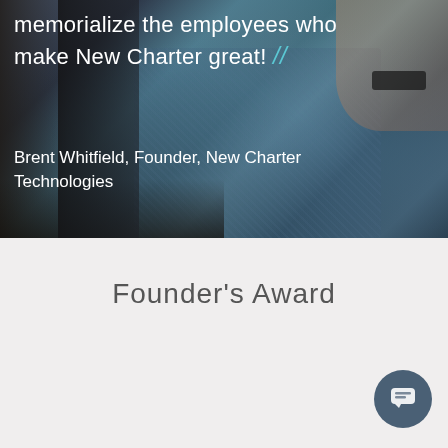[Figure (photo): Dark photo background showing a person in a blue patterned shirt with hands visible, semi-dark photographic scene]
memorialize the employees who make New Charter great! // Brent Whitfield, Founder, New Charter Technologies
Founder's Award